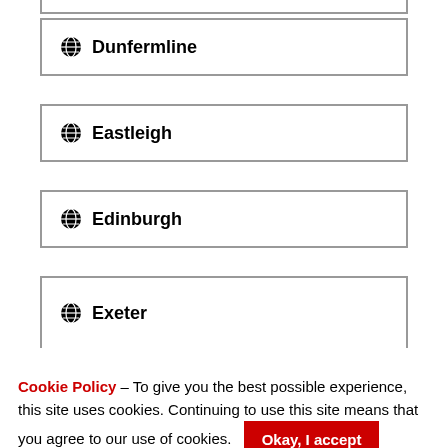Dunfermline
Eastleigh
Edinburgh
Exeter
Cookie Policy – To give you the best possible experience, this site uses cookies. Continuing to use this site means that you agree to our use of cookies. Okay, I accept